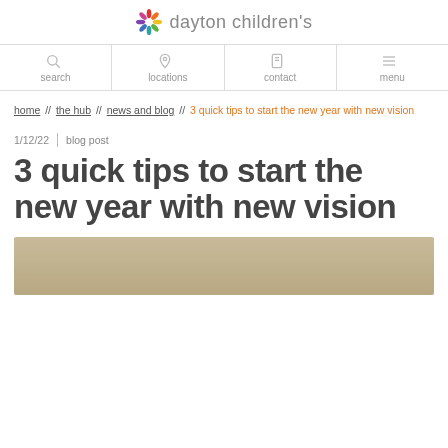[Figure (logo): Dayton Children's pinwheel logo with colored petals and gray text 'dayton children’s']
search | locations | contact | menu
home // the hub // news and blog // 3 quick tips to start the new year with new vision
1/12/22 | blog post
3 quick tips to start the new year with new vision
[Figure (photo): Partial view of a beige/tan photo at the bottom of the page]